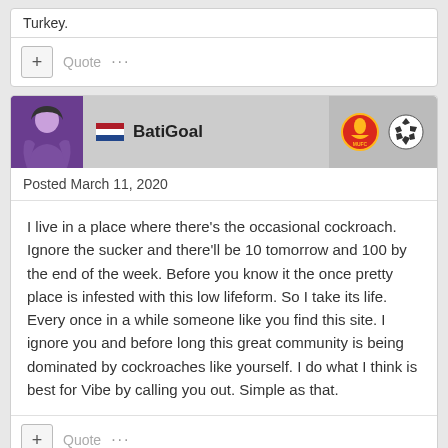Turkey.
+ Quote ...
BatiGoal
Posted March 11, 2020
I live in a place where there's the occasional cockroach. Ignore the sucker and there'll be 10 tomorrow and 100 by the end of the week. Before you know it the once pretty place is infested with this low lifeform. So I take its life. Every once in a while someone like you find this site. I ignore you and before long this great community is being dominated by cockroaches like yourself. I do what I think is best for Vibe by calling you out. Simple as that.
+ Quote ...